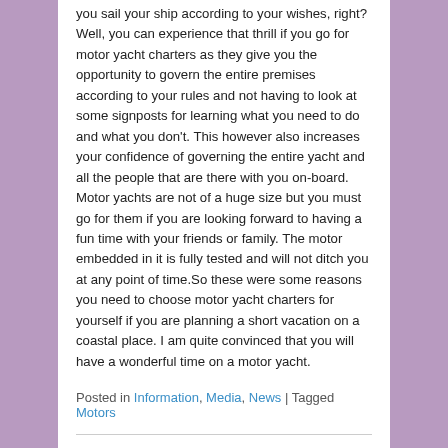you sail your ship according to your wishes, right? Well, you can experience that thrill if you go for motor yacht charters as they give you the opportunity to govern the entire premises according to your rules and not having to look at some signposts for learning what you need to do and what you don't. This however also increases your confidence of governing the entire yacht and all the people that are there with you on-board. Motor yachts are not of a huge size but you must go for them if you are looking forward to having a fun time with your friends or family. The motor embedded in it is fully tested and will not ditch you at any point of time.So these were some reasons you need to choose motor yacht charters for yourself if you are planning a short vacation on a coastal place. I am quite convinced that you will have a wonderful time on a motor yacht.
Posted in Information, Media, News | Tagged Motors